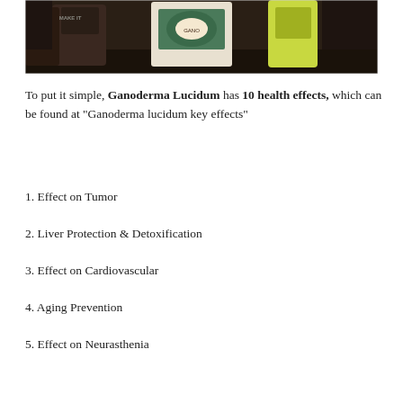[Figure (photo): Photo of product containers/bottles on a dark surface, including what appears to be supplement or coffee products with green and yellow packaging.]
To put it simple, Ganoderma Lucidum has 10 health effects, which can be found at “Ganoderma lucidum key effects”
1. Effect on Tumor
2. Liver Protection & Detoxification
3. Effect on Cardiovascular
4. Aging Prevention
5. Effect on Neurasthenia